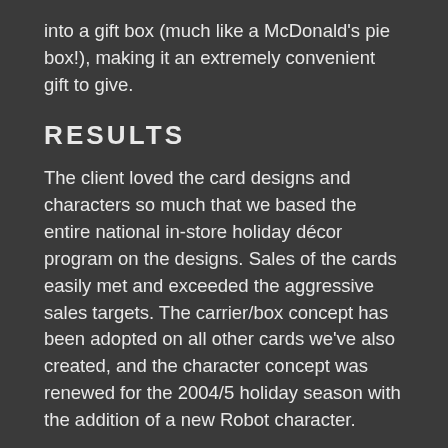into a gift box (much like a McDonald's pie box!), making it an extremely convenient gift to give.
RESULTS
The client loved the card designs and characters so much that we based the entire national in-store holiday décor program on the designs. Sales of the cards easily met and exceeded the aggressive sales targets. The carrier/box concept has been adopted on all other cards we've also created, and the character concept was renewed for the 2004/5 holiday season with the addition of a new Robot character.
We also went on to create a B2B direct marketing campaign to communicate to appropriate business decision makers the benefits of Future Shop Gift Cards over other employee incentive and client gift alternatives, and drive sales of the cards. Realizing that